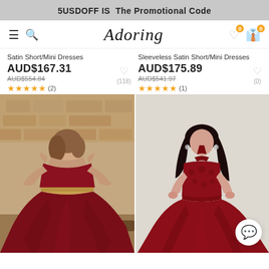5USDOFF IS The Promotional Code
[Figure (screenshot): Navigation bar with hamburger menu, search icon, Adoring logo, heart wishlist icon with badge 0, and shopping bag icon with badge 0]
Satin Short/Mini Dresses
AUD$167.31
AUD$554.84
★★★★★ (2)
♡ (118)
Sleeveless Satin Short/Mini Dresses
AUD$175.89
AUD$541.97
★★★★★ (1)
♡ (0)
[Figure (photo): Model wearing dark red/burgundy off-shoulder satin short/mini dress with beaded waist belt, posed in a rustic stone interior]
[Figure (photo): Model wearing dark red/burgundy sleeveless halter satin short/mini dress with lace embellished bodice, posed against light background]